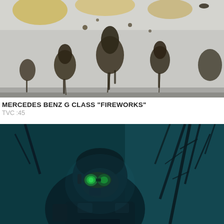[Figure (photo): Close-up photo showing abstract dark organic splatter shapes on a light grey background, with golden/yellow tones at top — appears to be a still from a Mercedes Benz advertisement featuring the G Class.]
MERCEDES BENZ G CLASS "FIREWORKS"
TVC :45
[Figure (photo): Dark blue-tinted photo of a soldier or military figure wearing green night-vision goggles, surrounded by bare tree branches in a dark forest environment.]